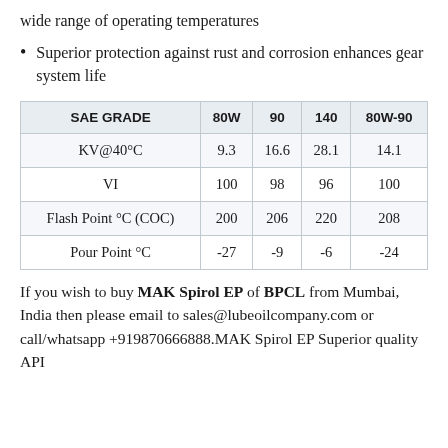wide range of operating temperatures
Superior protection against rust and corrosion enhances gear system life
| SAE GRADE | 80W | 90 | 140 | 80W-90 |
| --- | --- | --- | --- | --- |
| KV@40°C | 9.3 | 16.6 | 28.1 | 14.1 |
| VI | 100 | 98 | 96 | 100 |
| Flash Point °C (COC) | 200 | 206 | 220 | 208 |
| Pour Point °C | -27 | -9 | -6 | -24 |
If you wish to buy MAK Spirol EP of BPCL from Mumbai, India then please email to sales@lubeoilcompany.com or call/whatsapp +919870666888.MAK Spirol EP Superior quality API